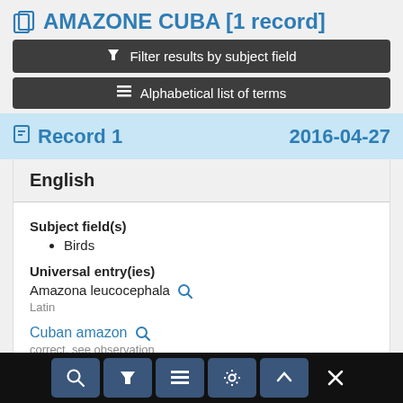AMAZONE CUBA [1 record]
Filter results by subject field
Alphabetical list of terms
Record 1   2016-04-27
English
Subject field(s)
Birds
Universal entry(ies)
Amazona leucocephala
Latin
Cuban amazon
correct, see observation